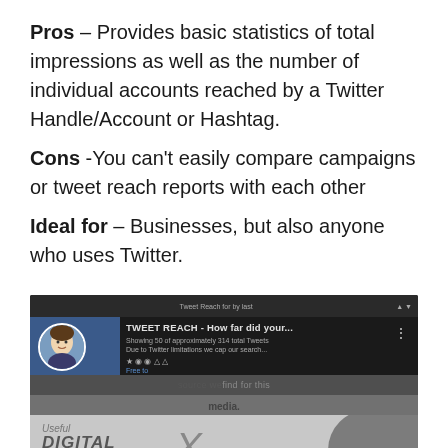Pros – Provides basic statistics of total impressions as well as the number of individual accounts reached by a Twitter Handle/Account or Hashtag.
Cons -You can't easily compare campaigns or tweet reach reports with each other
Ideal for – Businesses, but also anyone who uses Twitter.
[Figure (screenshot): Screenshot of a YouTube video thumbnail for 'TWEET REACH - How far did your...' showing a man's profile picture, overlaid with text about digital marketing tools including 'Useful DIGITAL MARKETING Tools' and a large X symbol, with reference to source/media.]